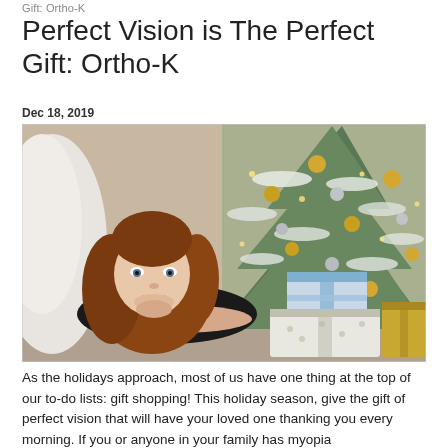Gift: Ortho-K
Perfect Vision is The Perfect Gift: Ortho-K
Dec 18, 2019
[Figure (photo): A young girl with long curly auburn hair lying on the floor, resting her chin on her hand, with wrapped Christmas gifts and a decorated Christmas tree with gold and silver ornaments in the background.]
As the holidays approach, most of us have one thing at the top of our to-do lists: gift shopping! This holiday season, give the gift of perfect vision that will have your loved one thanking you every morning. If you or anyone in your family has myopia